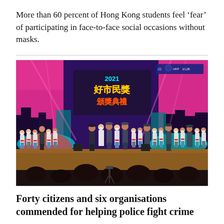More than 60 percent of Hong Kong students feel ‘fear’ of participating in face-to-face social occasions without masks.
[Figure (photo): A group photo on a stage at the 2021 Good Citizen Award ceremony (好市民獎頒獎典禮). Students in white uniforms with red belts and adults in police uniforms stand on stage. A colorful backdrop features the ceremony title in Chinese characters. An audience is visible in the foreground.]
Forty citizens and six organisations commended for helping police fight crime